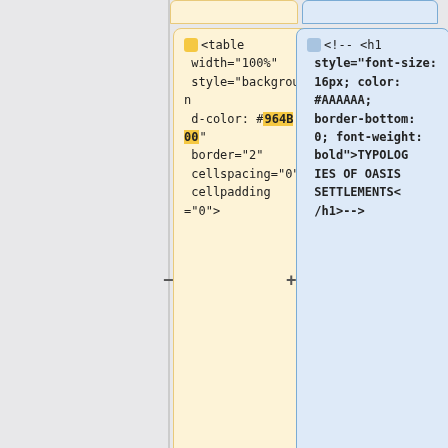[Figure (screenshot): Code comparison UI showing pairs of yellow (left) and blue (right) code snippet cards with minus/plus indicators. Row 1 yellow card: HTML table tag with width=100%, background-color #964B00, border=2, cellspacing=0, cellpadding=0. Row 1 blue card: commented-out h1 element with style font-size:16px, color:#AAAAAA, border-bottom:0, font-weight:bold containing text TYPOLOGIES OF OASIS SETTLEMENTS. Row 2 yellow card: tr element with style height:100px. Row 2 blue card: table element with width=100%, background-color #DBB497, border=2, cellspacing=0, cellpadding=0. Row 3 yellow card (partial): td and font element with font-weight bold. Row 3 blue card (partial): tr element with style height:100px.]